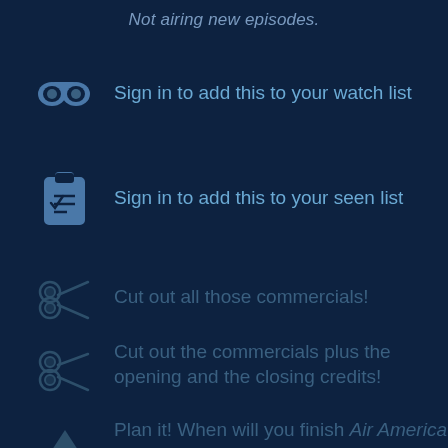Not airing new episodes.
Sign in to add this to your watch list
Sign in to add this to your seen list
Cut out all those commercials!
Cut out the commercials plus the opening and the closing credits!
Plan it! When will you finish Air America if you watch it this many hours per day?